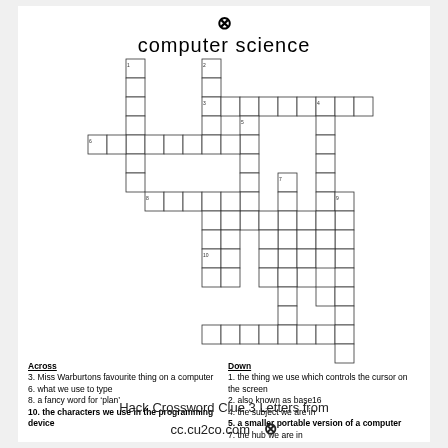computer science
[Figure (other): Crossword puzzle grid for computer science themed crossword with numbered cells]
Across
3. Miss Warburtons favourite thing on a computer
6. what we use to type
8. a fancy word for 'plan'
10. the characters we use in the programming device
Down
1. the thing we use which controls the cursor on the screen
2. also known as base16
4. the subject we are in
5. a smaller portable version of a computer
7. the hub we are in
9. the programming device we have been using so far
Hack Crossword Clue 3 Letters from cc.cu2co.com